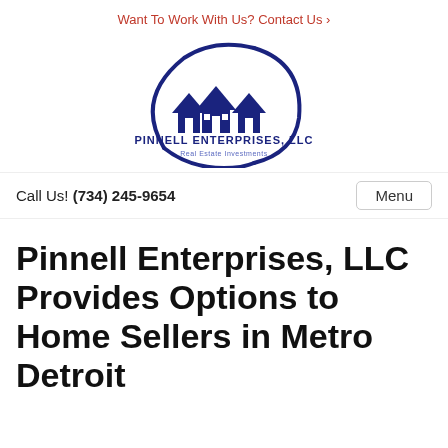Want To Work With Us? Contact Us ›
[Figure (logo): Pinnell Enterprises, LLC Real Estate Investments logo — dark navy blue illustration of three house rooftops with a swooping circular arc, company name and tagline below]
Call Us! (734) 245-9654
Menu
Pinnell Enterprises, LLC Provides Options to Home Sellers in Metro Detroit